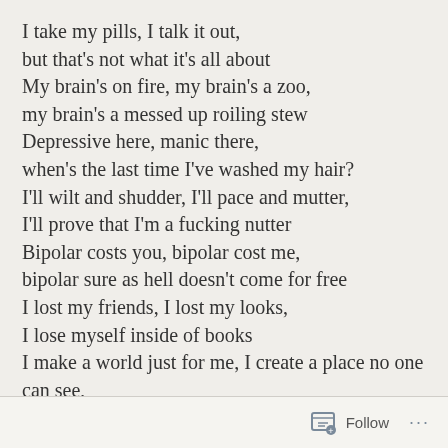I take my pills, I talk it out,
but that's not what it's all about
My brain's on fire, my brain's a zoo,
my brain's a messed up roiling stew
Depressive here, manic there,
when's the last time I've washed my hair?
I'll wilt and shudder, I'll pace and mutter,
I'll prove that I'm a fucking nutter
Bipolar costs you, bipolar cost me,
bipolar sure as hell doesn't come for free
I lost my friends, I lost my looks,
I lose myself inside of books
I make a world just for me, I create a place no one can see,
I make a world where I'm free
Sometimes there's blood, sometimes there's gore,
sometimes I don't wanna be here anymore
Follow ...